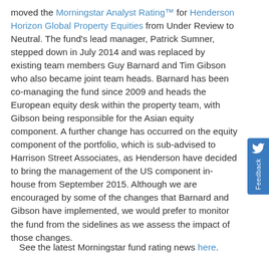moved the Morningstar Analyst Rating™ for Henderson Horizon Global Property Equities from Under Review to Neutral. The fund's lead manager, Patrick Sumner, stepped down in July 2014 and was replaced by existing team members Guy Barnard and Tim Gibson who also became joint team heads. Barnard has been co-managing the fund since 2009 and heads the European equity desk within the property team, with Gibson being responsible for the Asian equity component. A further change has occurred on the equity component of the portfolio, which is sub-advised to Harrison Street Associates, as Henderson have decided to bring the management of the US component in-house from September 2015. Although we are encouraged by some of the changes that Barnard and Gibson have implemented, we would prefer to monitor the fund from the sidelines as we assess the impact of those changes.
See the latest Morningstar fund rating news here.